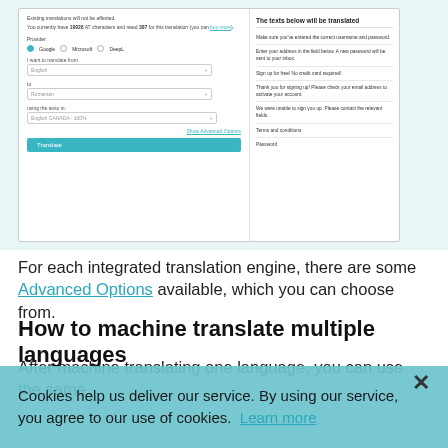[Figure (screenshot): Screenshot of a translation tool interface. Left panel shows provider selection (Google, Microsoft, DeepL radio buttons), language dropdowns (English to Romanian, using English CANADA-100%), an Advanced Options link, and a Translate button. Right panel titled 'The texts below will be translated' shows several text strings to be translated including account/login messages, terms and conditions, and password.]
For each integrated translation engine, there are some Advanced Options available, which you can choose from.
How to machine translate multiple languages
After machine translating one language, you can use the same
Cookies help us deliver our service. By using our service, you agree to our use of cookies. Learn more ×